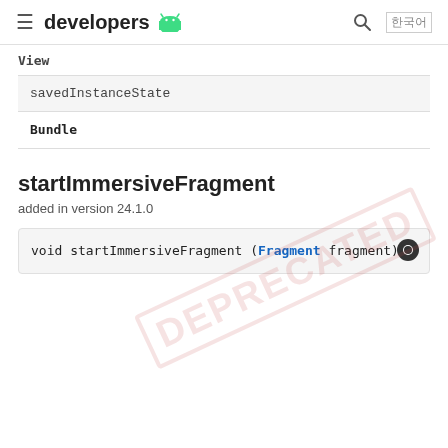≡  developers 🤖  🔍  한국어
View
| savedInstanceState |
| --- |
| Bundle |
startImmersiveFragment
added in version 24.1.0
void startImmersiveFragment (Fragment fragment)